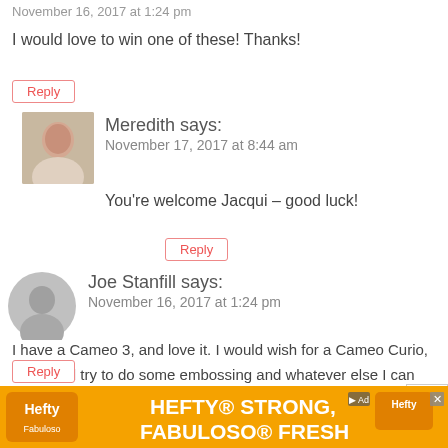November 16, 2017 at 1:24 pm
I would love to win one of these! Thanks!
Reply
Meredith says: November 17, 2017 at 8:44 am
You're welcome Jacqui – good luck!
Reply
Joe Stanfill says: November 16, 2017 at 1:24 pm
I have a Cameo 3, and love it. I would wish for a Cameo Curio, so I could try to do some embossing and whatever else I can learn to do on the Curio, that I can't so with my Cameo 3.
Reply
[Figure (infographic): Hefty advertisement banner: HEFTY STRONG, FABULOSO FRESH with orange background]